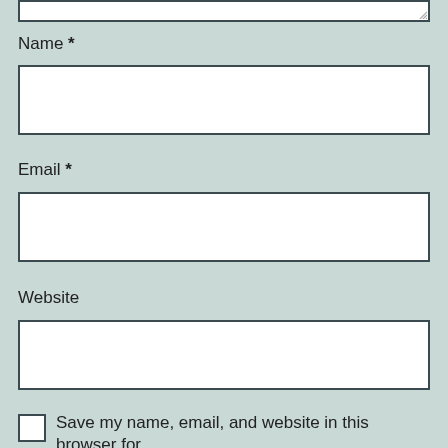[Figure (screenshot): Top portion of a textarea input (cropped at top, showing only bottom edge with resize handle)]
Name *
[Figure (screenshot): Empty text input field for Name]
Email *
[Figure (screenshot): Empty text input field for Email]
Website
[Figure (screenshot): Empty text input field for Website]
Save my name, email, and website in this browser for